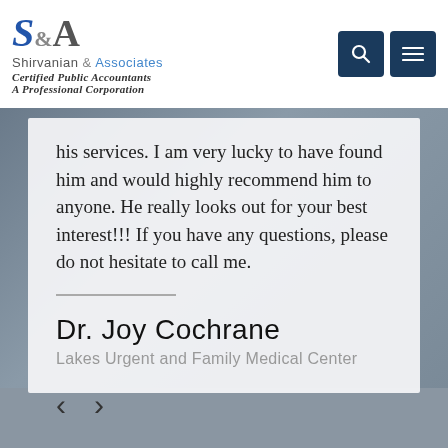[Figure (logo): S&A Shirvanian & Associates Certified Public Accountants A Professional Corporation logo]
his services. I am very lucky to have found him and would highly recommend him to anyone. He really looks out for your best interest!!! If you have any questions, please do not hesitate to call me.
Dr. Joy Cochrane
Lakes Urgent and Family Medical Center